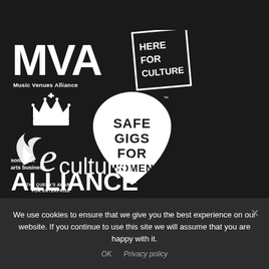[Figure (logo): MVA Music Venues Alliance logo with 'HERE FOR CULTURE' text in a rotated rectangle]
[Figure (logo): The Queen's Awards for Enterprise logo with crown and stylized 'e']
[Figure (logo): Safe Gigs For Women logo - guitar pick shape with text inside]
[Figure (logo): Somerset Arts Business Cultural Alliance logo]
We use cookies to ensure that we give you the best experience on our website. If you continue to use this site we will assume that you are happy with it.
OK   Privacy policy